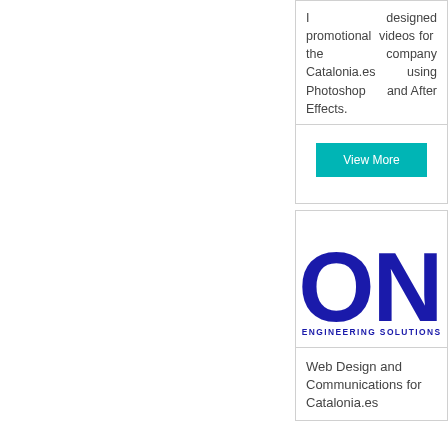I designed promotional videos for the company Catalonia.es using Photoshop and After Effects.
View More
[Figure (logo): ONE Engineering Solutions logo — large bold dark blue letters 'ON' partially visible, with 'ENGINEERING SOLUTIONS' text below]
Web Design and Communications for Catalonia.es